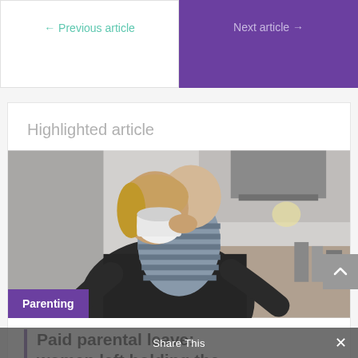← Previous article
Next article →
Highlighted article
[Figure (photo): A woman holding a baby on her shoulder while drinking from a cup, standing in a kitchen.]
Parenting
Paid parental leave: women left holding the
Share This